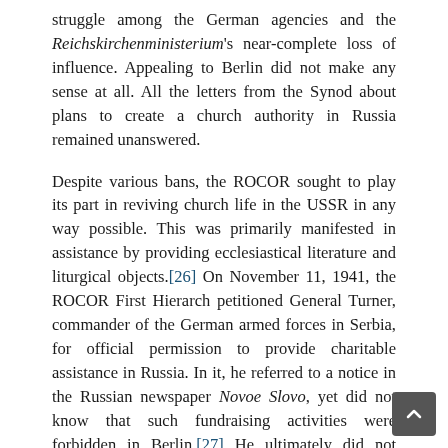struggle among the German agencies and the Reichskirchenministerium's near-complete loss of influence. Appealing to Berlin did not make any sense at all. All the letters from the Synod about plans to create a church authority in Russia remained unanswered.
Despite various bans, the ROCOR sought to play its part in reviving church life in the USSR in any way possible. This was primarily manifested in assistance by providing ecclesiastical literature and liturgical objects.[26] On November 11, 1941, the ROCOR First Hierarch petitioned General Turner, commander of the German armed forces in Serbia, for official permission to provide charitable assistance in Russia. In it, he referred to a notice in the Russian newspaper Novoe Slovo, yet did not know that such fundraising activities were forbidden in Berlin.[27] He ultimately did not obtain permission in Belgrade.
In September 1941, Metropolitan Anastasy gave his blessing to form a Russian guard corps in Yugoslavia, which many members of his flock joined. Vladyka...